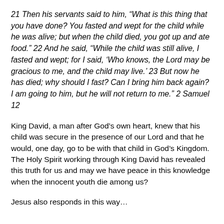21 Then his servants said to him, “What is this thing that you have done? You fasted and wept for the child while he was alive; but when the child died, you got up and ate food.” 22 And he said, “While the child was still alive, I fasted and wept; for I said, ‘Who knows, the Lord may be gracious to me, and the child may live.’ 23 But now he has died; why should I fast? Can I bring him back again? I am going to him, but he will not return to me.” 2 Samuel 12
King David, a man after God’s own heart, knew that his child was secure in the presence of our Lord and that he would, one day, go to be with that child in God’s Kingdom. The Holy Spirit working through King David has revealed this truth for us and may we have peace in this knowledge when the innocent youth die among us?
Jesus also responds in this way…